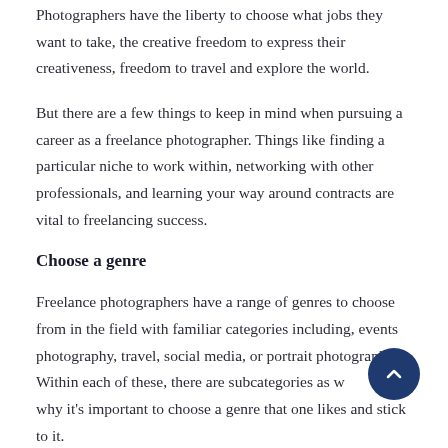Photographers have the liberty to choose what jobs they want to take, the creative freedom to express their creativeness, freedom to travel and explore the world.
But there are a few things to keep in mind when pursuing a career as a freelance photographer. Things like finding a particular niche to work within, networking with other professionals, and learning your way around contracts are vital to freelancing success.
Choose a genre
Freelance photographers have a range of genres to choose from in the field with familiar categories including, events photography, travel, social media, or portrait photography. Within each of these, there are subcategories as well. This is why it's important to choose a genre that one likes and stick to it.